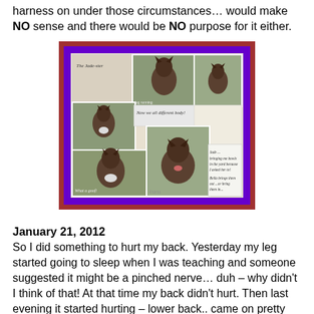harness on under those circumstances… would make NO sense and there would be NO purpose for it either.
[Figure (photo): Photo collage of a German Shepherd dog in a yard, multiple images arranged in a grid with purple border and dark red outer border. Captions include 'The Jade-ster', 'Now we all different body!', 'What a goof!', 'Jade... bringing me bowls in the yard because I asked her to! Bella brings them out...or bring them in...' with a date mark.]
January 21, 2012
So I did something to hurt my back.  Yesterday my leg started going to sleep when I was teaching and someone suggested it might be a pinched nerve…  duh – why didn't I think of that!  At that time my back didn't hurt.  Then last evening it started hurting – lower back.. came on pretty fast it seemed like.  This morning… yup…  it hurt..  It was hard,